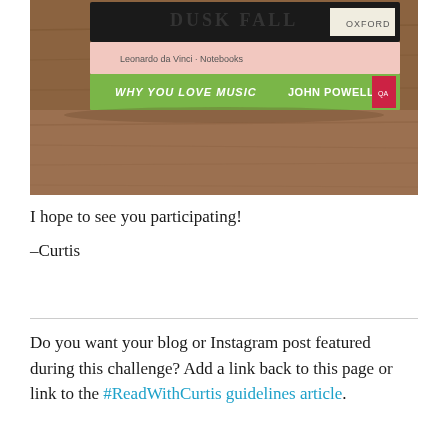[Figure (photo): A photograph of a stack of books on a wooden surface. Visible book spines include 'Leonardo da Vinci - Notebooks', 'WHY YOU LOVE MUSIC JOHN POWELL', and a book with 'OXFORD' visible. The books are stacked horizontally on a wood-grain table.]
I hope to see you participating!
-Curtis
Do you want your blog or Instagram post featured during this challenge? Add a link back to this page or link to the #ReadWithCurtis guidelines article.